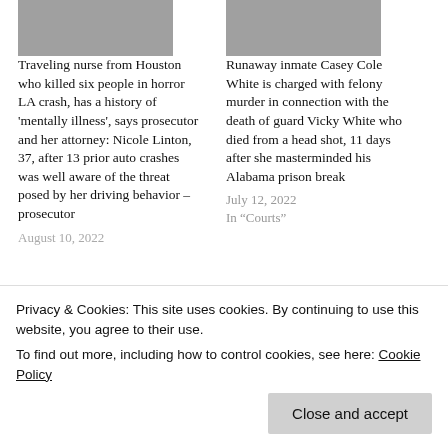[Figure (photo): Thumbnail photo of a person on the left article column]
Traveling nurse from Houston who killed six people in horror LA crash, has a history of 'mentally illness', says prosecutor and her attorney: Nicole Linton, 37, after 13 prior auto crashes was well aware of the threat posed by her driving behavior – prosecutor
August 10, 2022
[Figure (photo): Thumbnail photo of Casey Cole White on the right article column]
Runaway inmate Casey Cole White is charged with felony murder in connection with the death of guard Vicky White who died from a head shot, 11 days after she masterminded his Alabama prison break
July 12, 2022
In "Courts"
Privacy & Cookies: This site uses cookies. By continuing to use this website, you agree to their use.
To find out more, including how to control cookies, see here: Cookie Policy
Close and accept